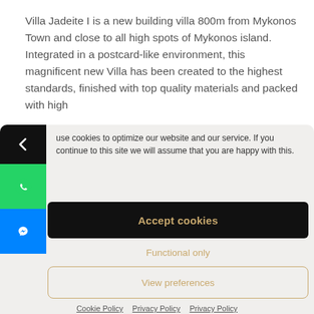Villa Jadeite I is a new building villa 800m from Mykonos Town and close to all high spots of Mykonos island. Integrated in a postcard-like environment, this magnificent new Villa has been created to the highest standards, finished with top quality materials and packed with high
use cookies to optimize our website and our service. If you continue to this site we will assume that you are happy with this.
Accept cookies
Functional only
View preferences
Cookie Policy  Privacy Policy  Privacy Policy